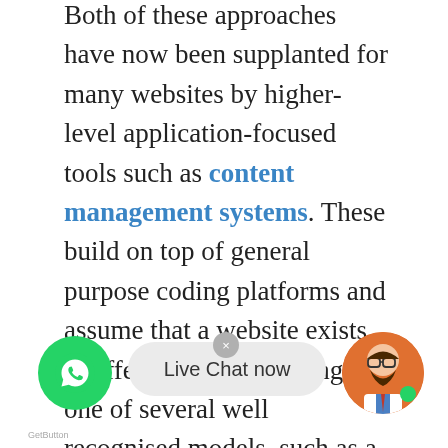Both of these approaches have now been supplanted for many websites by higher-level application-focused tools such as content management systems. These build on top of general purpose coding platforms and assume that a website exists to offer content according to one of several well recognised models, such as a time-sequenced blog, a thematic magazine or news site, a wiki or a user forum. These tools make the implementation of such a site very easy, and a purely organisational and design-based task, without requiring any coding.

Editing the content itself (as well as the template page) can be done both by means of the site itself, and with the use of third-party software. The ability to edit all pages is provided only to a specific category of users (for example, administrators, other editors), so in some cases, anonymous users are allowed to edit certain content, which is less frequent (for example, on forums
[Figure (other): WhatsApp chat widget overlay with green WhatsApp button on the left, a grey chat bubble in the center reading 'Live Chat now', a circular close button, and an avatar of a bearded man with glasses on the right. A 'GetButton' label appears at the bottom left.]